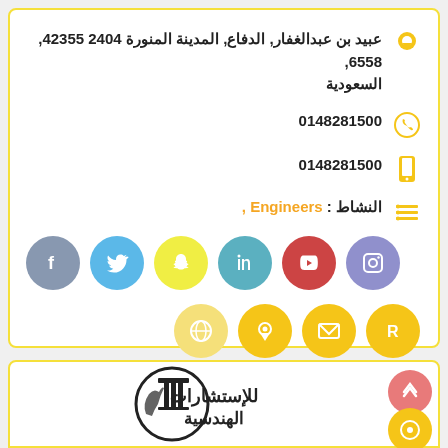عبيد بن عبدالغفار, الدفاع, المدينة المنورة 2404 42355, 6558, السعودية
0148281500
0148281500
النشاط : Engineers ,
[Figure (infographic): Social media icons: Facebook (grey-blue), Twitter (blue), Snapchat (yellow), LinkedIn (teal), YouTube (red), Instagram (purple)]
[Figure (infographic): Action icons: globe (light yellow), location pin (yellow), email (yellow), R letter (yellow)]
[Figure (logo): Engineering consultancy logo with Arabic text للإستشارات الهندسية and a figure holding pillars inside a circle]